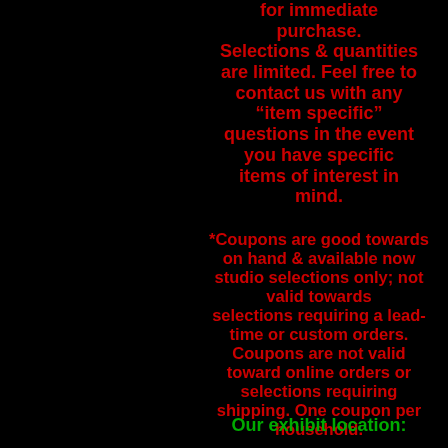for immediate purchase. Selections & quantities are limited. Feel free to contact us with any “item specific” questions in the event you have specific items of interest in mind.
*Coupons are good towards on hand & available now studio selections only; not valid towards selections requiring a lead-time or custom orders. Coupons are not valid toward online orders or selections requiring shipping. One coupon per household.
Our exhibit location: